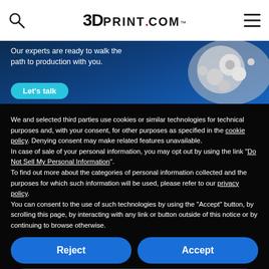3DPrint.com
[Figure (photo): Banner advertisement with dark blue background, text 'Our experts are ready to walk the path to production with you.', a 'Let's talk' button, and 3D printed robot hand on the right]
We and selected third parties use cookies or similar technologies for technical purposes and, with your consent, for other purposes as specified in the cookie policy. Denying consent may make related features unavailable.
In case of sale of your personal information, you may opt out by using the link "Do Not Sell My Personal Information".
To find out more about the categories of personal information collected and the purposes for which such information will be used, please refer to our privacy policy.
You can consent to the use of such technologies by using the "Accept" button, by scrolling this page, by interacting with any link or button outside of this notice or by continuing to browse otherwise.